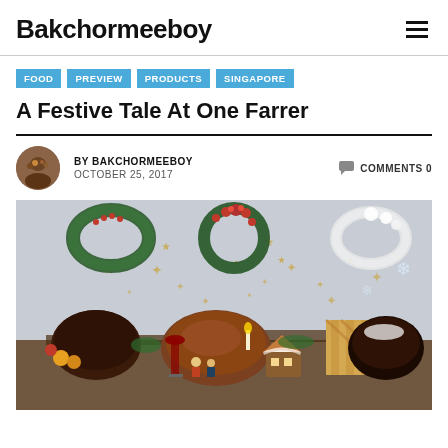Bakchormeeboy
FOOD
PREVIEW
PRODUCTS
SINGAPORE
A Festive Tale At One Farrer
BY BAKCHORMEEBOY
OCTOBER 25, 2017
COMMENTS 0
[Figure (photo): Christmas festive food spread on a table with Christmas wreaths and star decorations on a grey wall background]